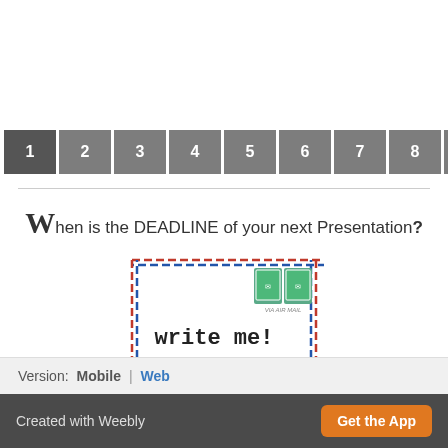1 2 3 4 5 6 7 8 9 10 11 12 13 14
When is the DEADLINE of your next Presentation?
[Figure (illustration): An illustration of an envelope with a dashed border (alternating red and blue dashes), two green postage stamps in the upper right corner, and the text 'write me!' in bold typewriter-style font in the center.]
Version:  Mobile  |  Web
Created with Weebly    Get the App